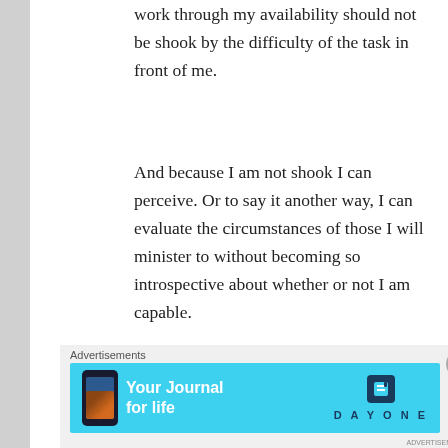work through my availability should not be shook by the difficulty of the task in front of me.
And because I am not shook I can perceive. Or to say it another way, I can evaluate the circumstances of those I will minister to without becoming so introspective about whether or not I am capable.
And while I entirely understand this, I am reminded of something that happens to me whether it be in soccer,
[Figure (other): Advertisement banner for Day One - Your Journal for life app, shown on a light blue background with a phone mockup on the left and the Day One logo on the right.]